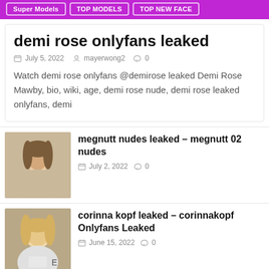Super Models | TOP MODELS | TOP NEW FACE
demi rose onlyfans leaked
July 5, 2022  mayerwong2  0
Watch demi rose onlyfans @demirose leaked Demi Rose Mawby, bio, wiki, age, demi rose nude, demi rose leaked onlyfans, demi
megnutt nudes leaked – megnutt 02 nudes
July 2, 2022  0
corinna kopf leaked – corinnakopf Onlyfans Leaked
June 15, 2022  0
Fiona Frost – Bio, Wiki, Age, Wikipedia,